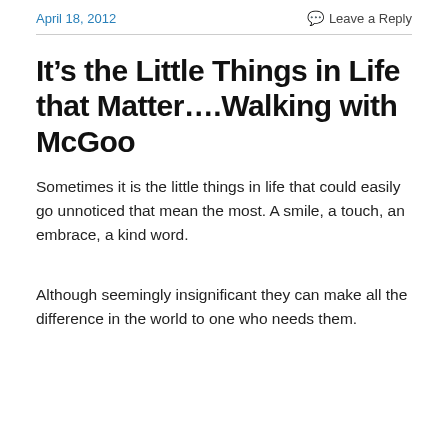April 18, 2012 | Leave a Reply
It’s the Little Things in Life that Matter….Walking with McGoo
Sometimes it is the little things in life that could easily go unnoticed that mean the most. A smile, a touch, an embrace, a kind word.
Although seemingly insignificant they can make all the difference in the world to one who needs them.